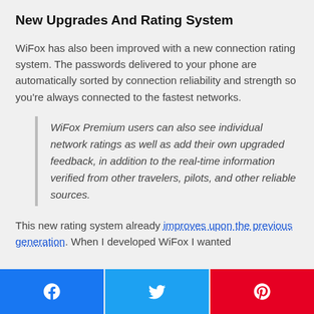New Upgrades And Rating System
WiFox has also been improved with a new connection rating system. The passwords delivered to your phone are automatically sorted by connection reliability and strength so you're always connected to the fastest networks.
WiFox Premium users can also see individual network ratings as well as add their own upgraded feedback, in addition to the real-time information verified from other travelers, pilots, and other reliable sources.
This new rating system already improves upon the previous generation. When I developed WiFox I wanted